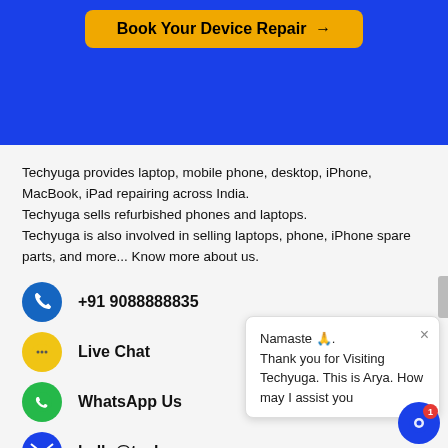[Figure (other): Blue banner section with a yellow 'Book Your Device Repair →' button]
Techyuga provides laptop, mobile phone, desktop, iPhone, MacBook, iPad repairing across India.
Techyuga sells refurbished phones and laptops.
Techyuga is also involved in selling laptops, phone, iPhone spare parts, and more... Know more about us.
+91 9088888835
Live Chat
WhatsApp Us
hello@techyuga.com
Namaste 🙏. Thank you for Visiting Techyuga. This is Arya. How may I assist you